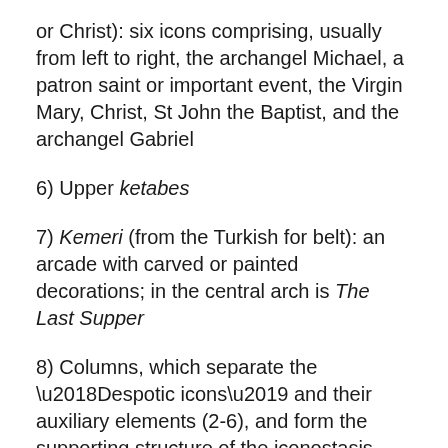or Christ): six icons comprising, usually from left to right, the archangel Michael, a patron saint or important event, the Virgin Mary, Christ, St John the Baptist, and the archangel Gabriel
6) Upper ketabes
7) Kemeri (from the Turkish for belt): an arcade with carved or painted decorations; in the central arch is The Last Supper
8) Columns, which separate the ‘Despotic icons’ and their auxiliary elements (2-6), and form the supporting structure of the iconostasis
9) Peristera (literally ‘pigeon’, as in a bird’s beak moulding), protruding decorative area where hanging candle-holders are usually attached